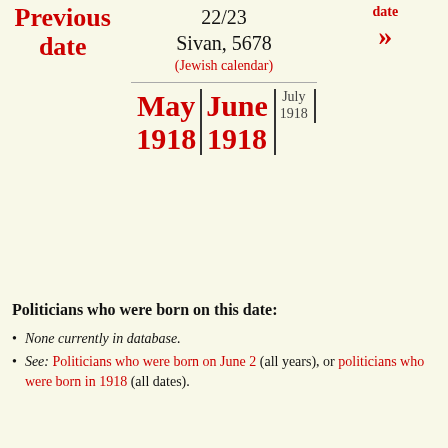| Previous date |  | next date |
| --- | --- | --- |
|  | 22/23 Sivan, 5678 (Jewish calendar) | » |
|  | May 1918 | June 1918 | July 1918 |  |
Politicians who were born on this date:
None currently in database.
See: Politicians who were born on June 2 (all years), or politicians who were born in 1918 (all dates).